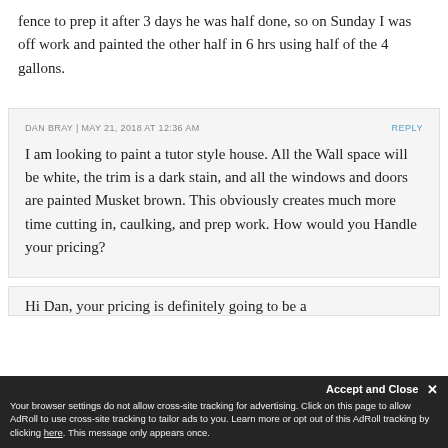fence to prep it after 3 days he was half done, so on Sunday I was off work and painted the other half in 6 hrs using half of the 4 gallons.
DAN BRAY | MAY 21, 2018 AT 12:36 AM
REPLY
I am looking to paint a tutor style house. All the Wall space will be white, the trim is a dark stain, and all the windows and doors are painted Musket brown. This obviously creates much more time cutting in, caulking, and prep work. How would you Handle your pricing?
Hi Dan, your pricing is definitely going to be a
Accept and Close ✕
Your browser settings do not allow cross-site tracking for advertising. Click on this page to allow AdRoll to use cross-site tracking to tailor ads to you. Learn more or opt out of this AdRoll tracking by clicking here. This message only appears once.